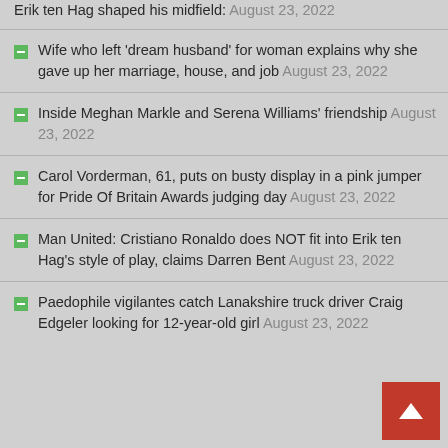Erik ten Hag shaped his midfield: August 23, 2022
Wife who left 'dream husband' for woman explains why she gave up her marriage, house, and job August 23, 2022
Inside Meghan Markle and Serena Williams' friendship August 23, 2022
Carol Vorderman, 61, puts on busty display in a pink jumper for Pride Of Britain Awards judging day August 23, 2022
Man United: Cristiano Ronaldo does NOT fit into Erik ten Hag's style of play, claims Darren Bent August 23, 2022
Paedophile vigilantes catch Lanakshire truck driver Craig Edgeler looking for 12-year-old girl August 23, 2022